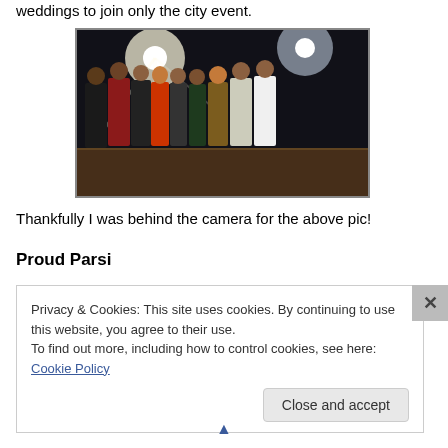weddings to join only the city event.
[Figure (photo): Group photo of approximately 10 people standing together outdoors at night with bright lights in the background. People are dressed in formal and traditional Indian attire.]
Thankfully I was behind the camera for the above pic!
Proud Parsi
Privacy & Cookies: This site uses cookies. By continuing to use this website, you agree to their use.
To find out more, including how to control cookies, see here: Cookie Policy
Close and accept